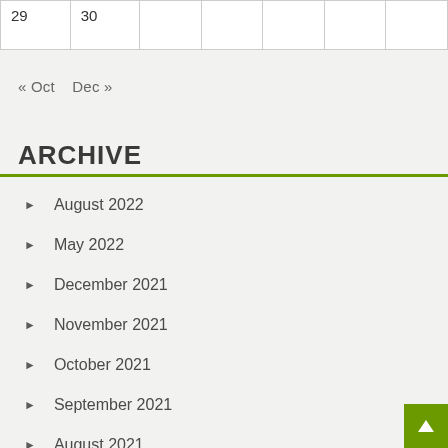| 29 | 30 |  |
« Oct   Dec »
ARCHIVE
August 2022
May 2022
December 2021
November 2021
October 2021
September 2021
August 2021